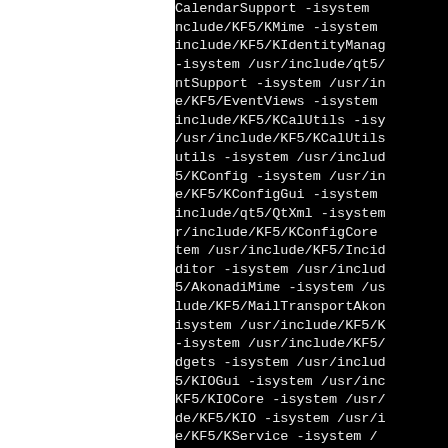CalendarSupport -isystem include/KF5/KMime -isystem include/KF5/KIdentityManag -isystem /usr/include/qt5/ ntSupport -isystem /usr/in e/KF5/EventViews -isystem include/KF5/KCalUtils -isy /usr/include/KF5/KCalUtils utils -isystem /usr/includ 5/KConfig -isystem /usr/in e/KF5/KConfigGui -isystem include/qt5/QtXml -isystem r/include/KF5/KConfigCore tem /usr/include/KF5/Incid ditor -isystem /usr/includ 5/AkonadiMime -isystem /us lude/KF5/MailTransportAkon isystem /usr/include/KF5/K -isystem /usr/include/KF5/ dgets -isystem /usr/includ 5/KIOGui -isystem /usr/inc KF5/KIOCore -isystem /usr/ de/KF5/KIO -isystem /usr/i e/KF5/KService -isystem /